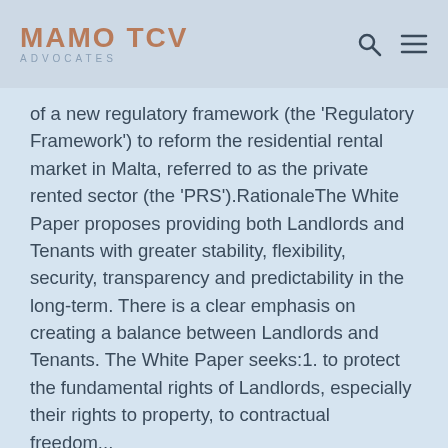MAMO TCV ADVOCATES
of a new regulatory framework (the 'Regulatory Framework') to reform the residential rental market in Malta, referred to as the private rented sector (the 'PRS').RationaleThe White Paper proposes providing both Landlords and Tenants with greater stability, flexibility, security, transparency and predictability in the long-term. There is a clear emphasis on creating a balance between Landlords and Tenants. The White Paper seeks:1. to protect the fundamental rights of Landlords, especially their rights to property, to contractual freedom...